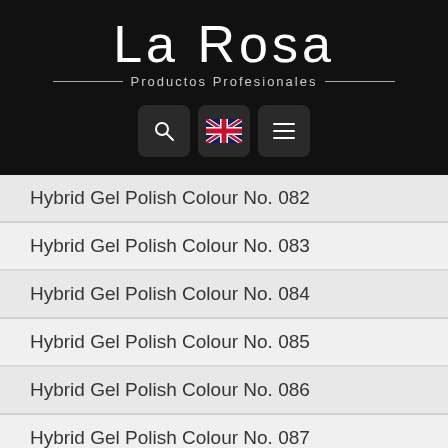[Figure (logo): La Rosa Productos Profesionales logo on black background with navigation buttons (search, UK flag, menu)]
Hybrid Gel Polish Colour No. 082
Hybrid Gel Polish Colour No. 083
Hybrid Gel Polish Colour No. 084
Hybrid Gel Polish Colour No. 085
Hybrid Gel Polish Colour No. 086
Hybrid Gel Polish Colour No. 087
Hybrid Gel Polish Colour No. 088
Hybrid Gel Polish Colour No. 089